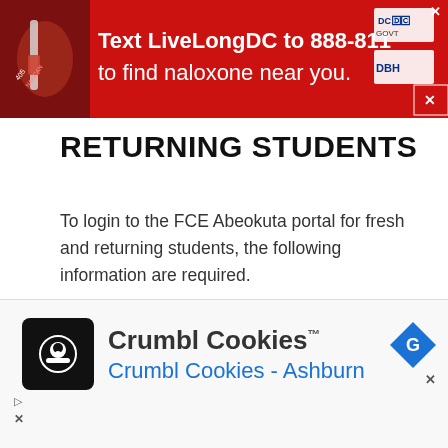[Figure (infographic): Top red advertisement banner: Text LiveLongDC to 888-811 to find naloxone near you. Features DC and DBH logos and a close X button. Left side shows a hand holding a medical item on dark red background.]
RETURNING STUDENTS
To login to the FCE Abeokuta portal for fresh and returning students, the following information are required.
[Figure (infographic): Bottom advertisement banner for Crumbl Cookies with black square logo showing a chef hat cookie icon, text 'Crumbl Cookies™' in dark gray and 'Crumbl Cookies - Ashburn' in blue. Blue diamond G icon on right with X close button. Play/arrow and X icons on bottom left.]